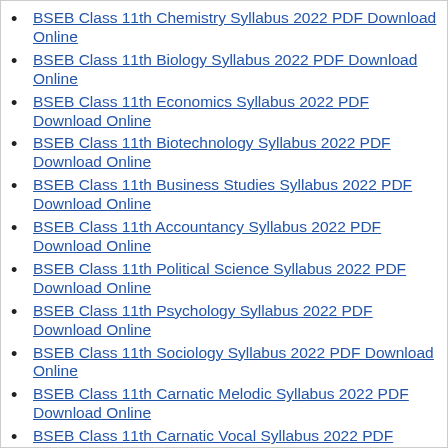BSEB Class 11th Chemistry Syllabus 2022 PDF Download Online
BSEB Class 11th Biology Syllabus 2022 PDF Download Online
BSEB Class 11th Economics Syllabus 2022 PDF Download Online
BSEB Class 11th Biotechnology Syllabus 2022 PDF Download Online
BSEB Class 11th Business Studies Syllabus 2022 PDF Download Online
BSEB Class 11th Accountancy Syllabus 2022 PDF Download Online
BSEB Class 11th Political Science Syllabus 2022 PDF Download Online
BSEB Class 11th Psychology Syllabus 2022 PDF Download Online
BSEB Class 11th Sociology Syllabus 2022 PDF Download Online
BSEB Class 11th Carnatic Melodic Syllabus 2022 PDF Download Online
BSEB Class 11th Carnatic Vocal Syllabus 2022 PDF Download Online